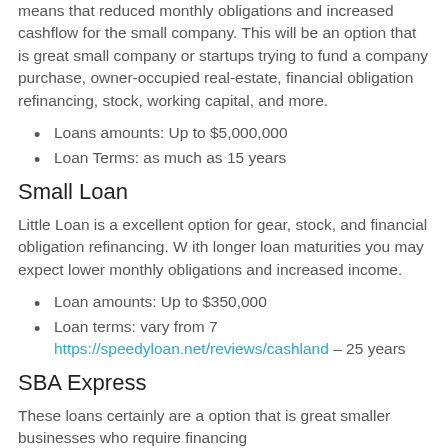means that reduced monthly obligations and increased cashflow for the small company. This will be an option that is great small company or startups trying to fund a company purchase, owner-occupied real-estate, financial obligation refinancing, stock, working capital, and more.
Loans amounts: Up to $5,000,000
Loan Terms: as much as 15 years
Small Loan
Little Loan is a excellent option for gear, stock, and financial obligation refinancing. W ith longer loan maturities you may expect lower monthly obligations and increased income.
Loan amounts: Up to $350,000
Loan terms: vary from 7 https://speedyloan.net/reviews/cashland – 25 years
SBA Express
These loans certainly are a option that is great smaller businesses who require financing